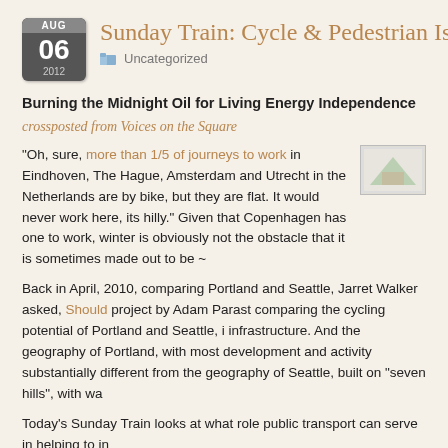Sunday Train: Cycle & Pedestrian Islar
Uncategorized
Burning the Midnight Oil for Living Energy Independence
crossposted from Voices on the Square
“Oh, sure, more than 1/5 of journeys to work in Eindhoven, The Hague, Amsterdam and Utrecht in the Netherlands are by bike, but they are flat. It would never work here, its hilly.” Given that Copenhagen has one to work, winter is obviously not the obstacle that it is sometimes made out to be ~
Back in April, 2010, comparing Portland and Seattle, Jarret Walker asked, Should project by Adam Parast comparing the cycling potential of Portland and Seattle, i infrastructure. And the geography of Portland, with most development and activity substantially different from the geography of Seattle, built on “seven hills”, with wa
Today’s Sunday Train looks at what role public transport can serve in helping to in
Tags: BRT, cycling, funicular, Living Energy Independence, passenger rail, public escalators, Trampe, walking